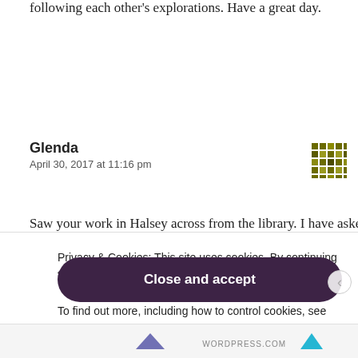following each other's explorations. Have a great day.
Glenda
April 30, 2017 at 11:16 pm
[Figure (other): Pixel art avatar icon in olive/yellow-green colors with geometric pattern]
Saw your work in Halsey across from the library. I have asked several
Privacy & Cookies: This site uses cookies. By continuing to use this website, you agree to their use.
To find out more, including how to control cookies, see here: Cookie Policy
Close and accept